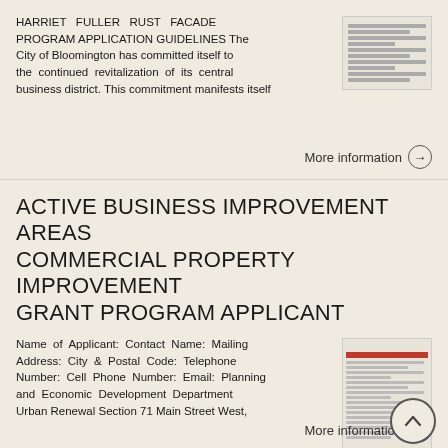HARRIET FULLER RUST FACADE PROGRAM APPLICATION GUIDELINES The City of Bloomington has committed itself to the continued revitalization of its central business district. This commitment manifests itself
More information →
ACTIVE BUSINESS IMPROVEMENT AREAS COMMERCIAL PROPERTY IMPROVEMENT GRANT PROGRAM APPLICANT
Name of Applicant: Contact Name: Mailing Address: City & Postal Code: Telephone Number: Cell Phone Number: Email: Planning and Economic Development Department Urban Renewal Section 71 Main Street West,
More information →
Facade Grant Program Information